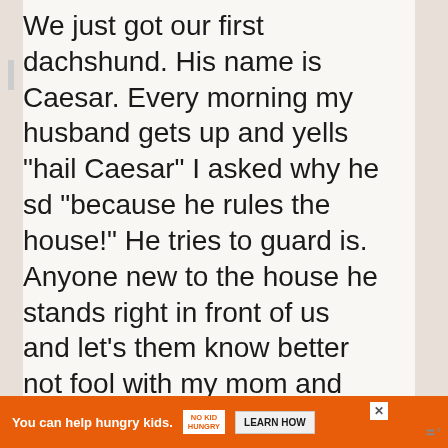We just got our first dachshund. His name is Caesar. Every morning my husband gets up and yells “hail Caesar” I asked why he sd “because he rules the house!” He tries to guard is. Anyone new to the house he stands right in front of us and let’s them know better not fool with my mom and daddy.
Reply
[Figure (other): Orange advertisement banner at bottom: 'You can help hungry kids.' with No Kid Hungry logo and 'LEARN HOW' button]